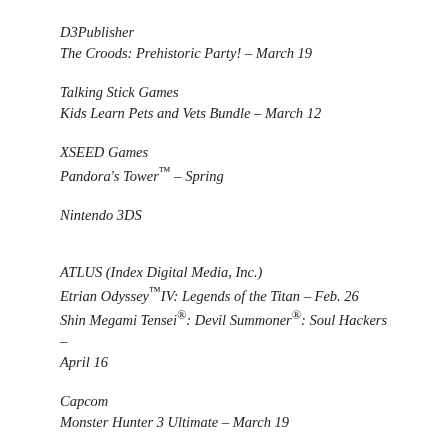D3Publisher
The Croods: Prehistoric Party! – March 19
Talking Stick Games
Kids Learn Pets and Vets Bundle – March 12
XSEED Games
Pandora's Tower™ – Spring
Nintendo 3DS
ATLUS (Index Digital Media, Inc.)
Etrian Odyssey™IV: Legends of the Titan – Feb. 26
Shin Megami Tensei®: Devil Summoner®: Soul Hackers – April 16
Capcom
Monster Hunter 3 Ultimate – March 19